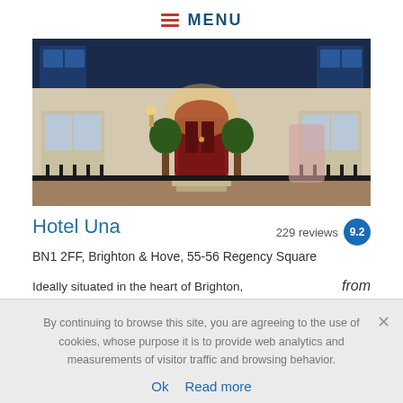≡ MENU
[Figure (photo): Exterior night photo of Hotel Una showing a Georgian townhouse facade with red front door, topiary plants, iron railings, and warm interior lighting]
Hotel Una
229 reviews  9.2
BN1 2FF, Brighton & Hove, 55-56 Regency Square
Ideally situated in the heart of Brighton, and just off Brighton Rail Station, Hotel Una offers
from
By continuing to browse this site, you are agreeing to the use of cookies, whose purpose it is to provide web analytics and measurements of visitor traffic and browsing behavior.
Ok  Read more